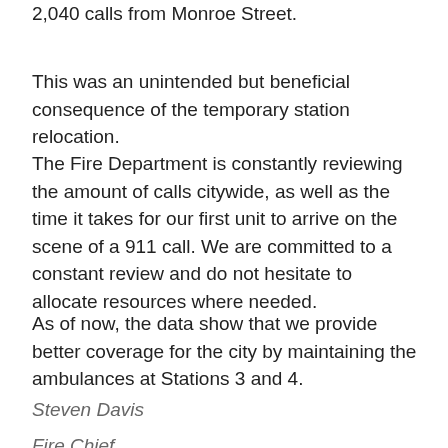2,040 calls from Monroe Street.
This was an unintended but beneficial consequence of the temporary station relocation.
The Fire Department is constantly reviewing the amount of calls citywide, as well as the time it takes for our first unit to arrive on the scene of a 911 call. We are committed to a constant review and do not hesitate to allocate resources where needed.
As of now, the data show that we provide better coverage for the city by maintaining the ambulances at Stations 3 and 4.
Steven Davis
Fire Chief